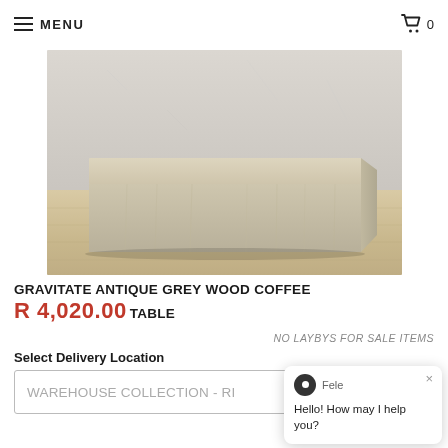MENU  0
[Figure (photo): A square low-profile coffee table with antique grey wood finish, photographed against a concrete wall background with wooden floor. The table has visible wood grain texture on its sides.]
GRAVITATE ANTIQUE GREY WOOD COFFEE TABLE
R 4,020.00
NO LAYBYS FOR SALE ITEMS
Select Delivery Location
WAREHOUSE COLLECTION - RI
Hello! How may I help you?